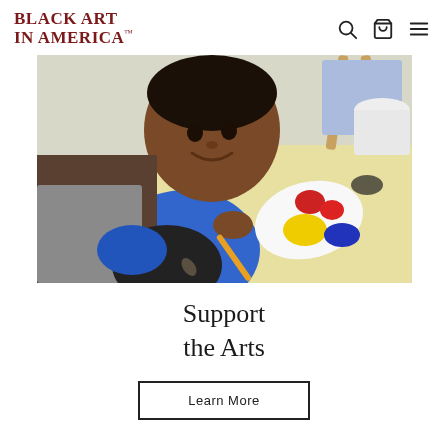BLACK ART IN AMERICA™
[Figure (photo): A young Black child in a blue shirt and black apron holds a paintbrush, smiling, seated at a yellow table with a paint palette showing red, yellow, and blue paint; an easel with a blue painting is visible in the background.]
Support the Arts
Learn More